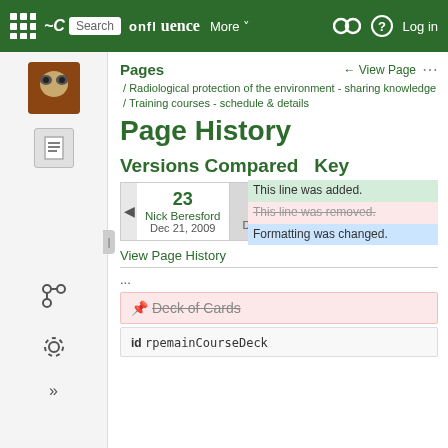Confluence | More | Log in
Pages / View Page ...
/ Radiological protection of the environment - sharing knowledge
/ Training courses - schedule & details
Page History
Versions Compared   Key
23
Nick Beresford
Dec 21, 2009
This line was added.
This line was removed.
Formatting was changed.
View Page History
...
Deck of Cards
id rpemainCourseDeck